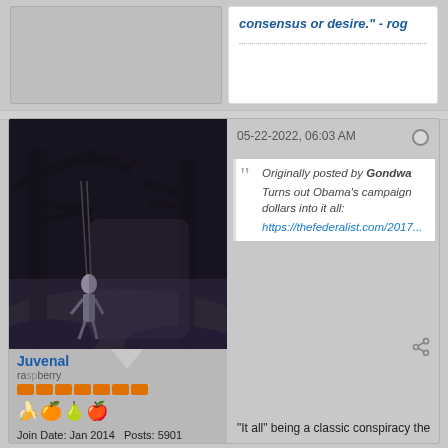consensus or desire." - rog...
[Figure (screenshot): Forum post with avatar of dark fantasy forest scene with hanging figure, username Juvenal, rank raspberry, orange rep bar pips, fruit emojis (banana, orange, pear, apple), Join Date Jan 2014, Posts 5901, Faith Humanist, Gender Male, Amens Received 558, Amens Given 232]
05-22-2022, 06:03 AM
Originally posted by Gondwa...
Turns out Obama's campaign... dollars into it all:
https://thefederalist.com/2017...
"It all" being a classic conspiracy the...